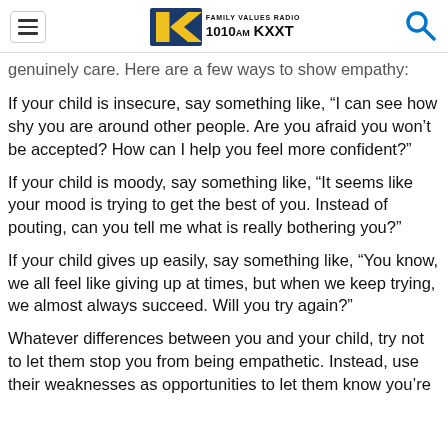Family Values Radio 1010AM KXXT
genuinely care. Here are a few ways to show empathy:
If your child is insecure, say something like, “I can see how shy you are around other people. Are you afraid you won’t be accepted? How can I help you feel more confident?”
If your child is moody, say something like, “It seems like your mood is trying to get the best of you. Instead of pouting, can you tell me what is really bothering you?”
If your child gives up easily, say something like, “You know, we all feel like giving up at times, but when we keep trying, we almost always succeed. Will you try again?”
Whatever differences between you and your child, try not to let them stop you from being empathetic. Instead, use their weaknesses as opportunities to let them know you’re